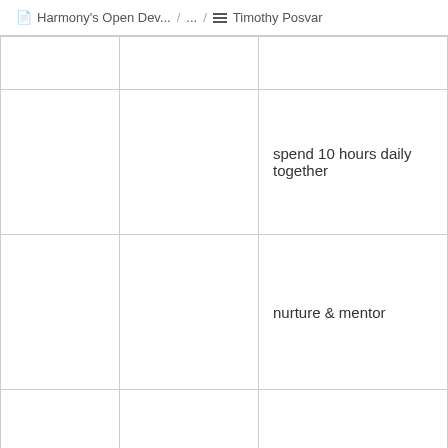Harmony's Open Dev... / ... / Timothy Posvar
|  |  | spend 10 hours daily together | 9 |
|  |  | nurture & mentor | 10 |
|  | Collaborative | make everyone shine | 10 |